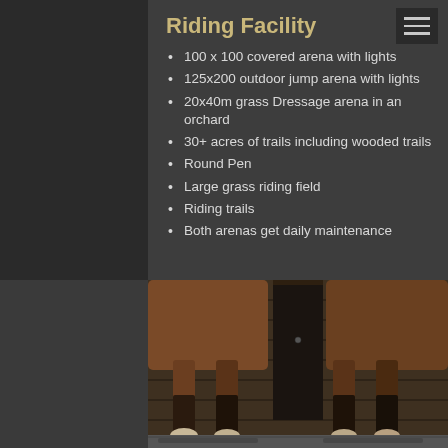Riding Facility
100 x 100 covered arena with lights
125x200 outdoor jump arena with lights
20x40m grass Dressage arena in an orchard
30+ acres of trails including wooded trails
Round Pen
Large grass riding field
Riding trails
Both arenas get daily maintenance
[Figure (photo): Close-up photo of horse legs and hooves standing in a stable with wooden stall doors in the background]